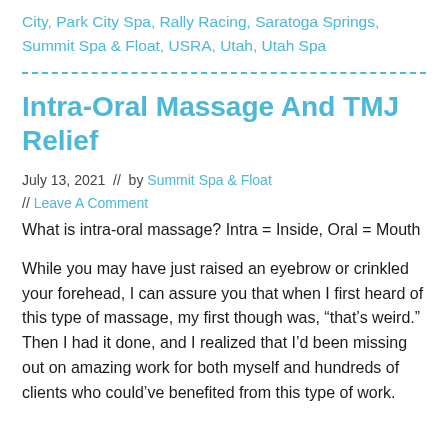City, Park City Spa, Rally Racing, Saratoga Springs, Summit Spa & Float, USRA, Utah, Utah Spa
Intra-Oral Massage And TMJ Relief
July 13, 2021  //  by Summit Spa & Float // Leave A Comment
What is intra-oral massage? Intra = Inside, Oral = Mouth
While you may have just raised an eyebrow or crinkled your forehead, I can assure you that when I first heard of this type of massage, my first though was, “that’s weird.” Then I had it done, and I realized that I’d been missing out on amazing work for both myself and hundreds of clients who could’ve benefited from this type of work.